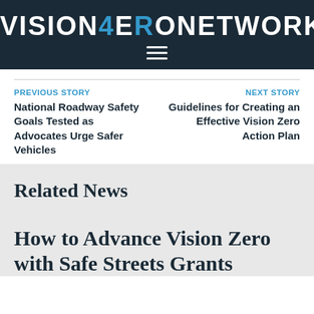VISION ZERO NETWORK
PREVIOUS STORY
National Roadway Safety Goals Tested as Advocates Urge Safer Vehicles
NEXT STORY
Guidelines for Creating an Effective Vision Zero Action Plan
Related News
How to Advance Vision Zero with Safe Streets Grants